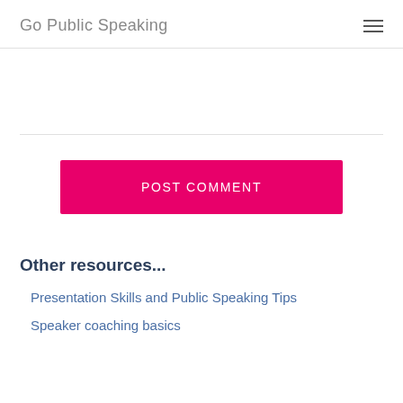Go Public Speaking
POST COMMENT
Other resources...
Presentation Skills and Public Speaking Tips
Speaker coaching basics